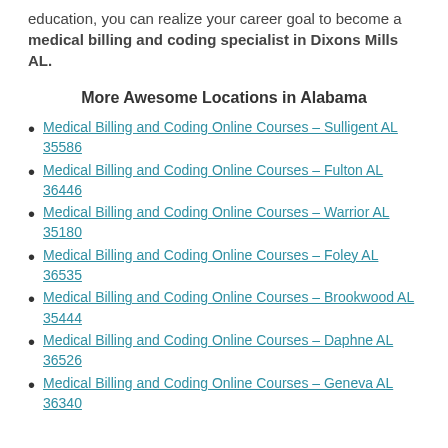education, you can realize your career goal to become a medical billing and coding specialist in Dixons Mills AL.
More Awesome Locations in Alabama
Medical Billing and Coding Online Courses – Sulligent AL 35586
Medical Billing and Coding Online Courses – Fulton AL 36446
Medical Billing and Coding Online Courses – Warrior AL 35180
Medical Billing and Coding Online Courses – Foley AL 36535
Medical Billing and Coding Online Courses – Brookwood AL 35444
Medical Billing and Coding Online Courses – Daphne AL 36526
Medical Billing and Coding Online Courses – Geneva AL 36340